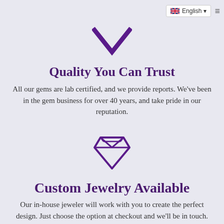[Figure (screenshot): Language selector showing UK flag and 'English' text with dropdown arrow, and hamburger menu icon]
[Figure (illustration): Purple downward-pointing chevron/arrow icon (V shape)]
Quality You Can Trust
All our gems are lab certified, and we provide reports. We've been in the gem business for over 40 years, and take pride in our reputation.
[Figure (illustration): Purple diamond gem icon]
Custom Jewelry Available
Our in-house jeweler will work with you to create the perfect design. Just choose the option at checkout and we'll be in touch.